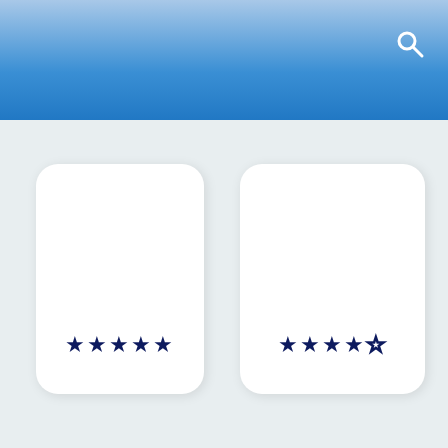[Figure (screenshot): App UI screenshot showing a blue gradient header bar with a white search icon in the top right, and two white rounded card components below. The left card shows 5 filled dark navy stars. The right card shows 4 filled dark navy stars and 1 empty/outline star.]